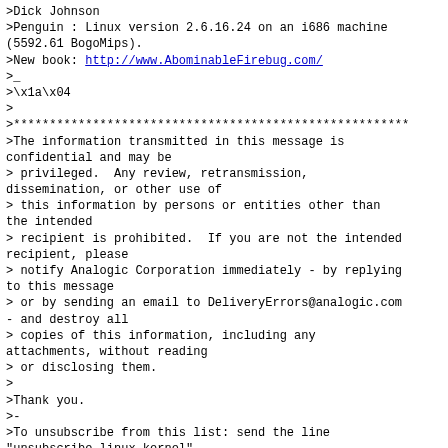>Dick Johnson
>Penguin : Linux version 2.6.16.24 on an i686 machine (5592.61 BogoMips).
>New book: http://www.AbominableFirebug.com/
>_
>\x1a\x04
>
>*******************************************************
>The information transmitted in this message is confidential and may be
> privileged.  Any review, retransmission, dissemination, or other use of
> this information by persons or entities other than the intended
> recipient is prohibited.  If you are not the intended recipient, please
> notify Analogic Corporation immediately - by replying to this message
> or by sending an email to DeliveryErrors@analogic.com - and destroy all
> copies of this information, including any attachments, without reading
> or disclosing them.
>
>Thank you.
>-
>To unsubscribe from this list: send the line "unsubscribe linux-kernel"
> in the body of a message to majordomo@vger.kernel.org
>More majordomo info at